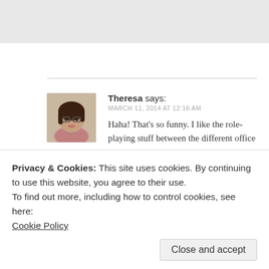[Figure (photo): Gray rectangle at the top of the page, remnant of an image or header graphic]
[Figure (photo): Circular/rounded avatar photo of Theresa, a woman with dark hair and glasses]
Theresa says:
MARCH 11, 2014 AT 12:16 AM
Haha! That's so funny. I like the role-playing stuff between the different office environments.
One thing I enjoy is how Americans go on/take 'hikes', and the British go on a 'walk' or 'ramble.' It's the same thing, but one sounds MUCH more easy and fun. Is it
Privacy & Cookies: This site uses cookies. By continuing to use this website, you agree to their use.
To find out more, including how to control cookies, see here:
Cookie Policy
Close and accept